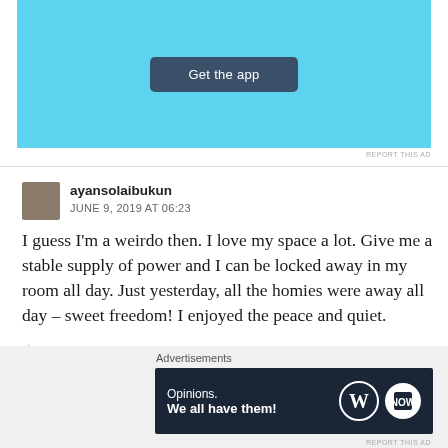[Figure (screenshot): Top ad banner with cyan/light blue background and dark 'Get the app' button]
REPORT THIS AD
ayansolaibukun
JUNE 9, 2019 AT 06:23
I guess I'm a weirdo then. I love my space a lot. Give me a stable supply of power and I can be locked away in my room all day. Just yesterday, all the homies were away all day – sweet freedom! I enjoyed the peace and quiet.
★ Liked by 2 people
Advertisements
[Figure (screenshot): Bottom ad banner: dark navy background with 'Opinions. We all have them!' text and WordPress and blog logos]